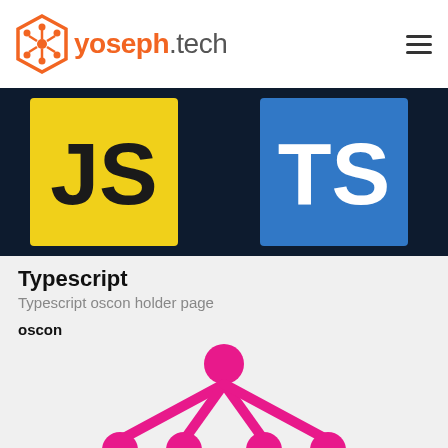yoseph.tech
[Figure (screenshot): Dark navy background with JavaScript (JS) logo on yellow square left and TypeScript (TS) logo on blue square right]
Typescript
Typescript oscon holder page
oscon
[Figure (illustration): Pink/magenta network graph icon showing a central node connected to multiple surrounding nodes with thick lines]